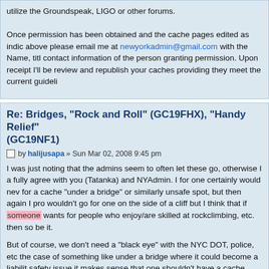utilize the Groundspeak, LIGO or other forums.

Once permission has been obtained and the cache pages edited as indicated above please email me at newyorkadmin@gmail.com with the Name, title, contact information of the person granting permission. Upon receipt I'll be review and republish your caches providing they meet the current guidelines.
Re: Bridges, "Rock and Roll" (GC19FHX), "Handy Relief" (GC19NF1)
by halijusapa » Sun Mar 02, 2008 9:45 pm
I was just noting that the admins seem to often let these go, otherwise I a fully agree with you (Tatanka) and NYAdmin. I for one certainly would nev for a cache "under a bridge" or similarly unsafe spot, but then again I pro wouldn't go for one on the side of a cliff but I think that if someone wants for people who enjoy/are skilled at rockclimbing, etc. then so be it.
But of course, we don't need a "black eye" with the NYC DOT, police, etc the case of something like under a bridge where it could become a liabilit safety issue it makes sense that one shouldn't have a cache there. Just w clarify and all........
I wonder if fats277 had these issues back in 2001, his/her 2 hides from th long archived....